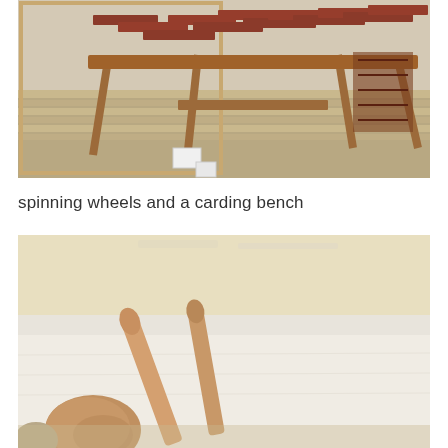[Figure (photo): Museum display of spinning wheels and a carding bench made of wood, with reddish-brown planks and wooden legs, shown in a museum gallery setting]
spinning wheels and a carding bench
[Figure (photo): Close-up museum display of wooden tools including what appear to be wooden paddles or carding tools resting on white fabric/textile, in a glass display case]